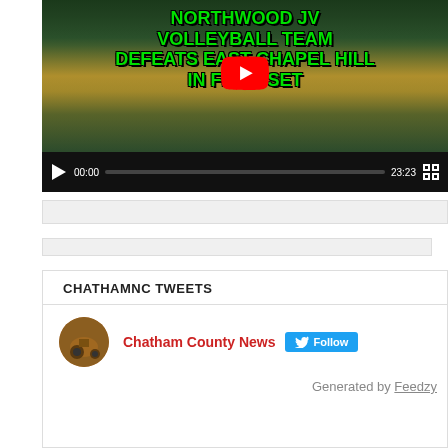[Figure (screenshot): YouTube video thumbnail showing Northwood JV Volleyball team defeating East Chapel Hill in first set, with green text overlay on a gym court scene. Video duration 23:23, currently at 00:00.]
[Figure (other): Advertisement placeholder bar (light gray)]
[Figure (other): Advertisement placeholder bar (light gray, narrower)]
CHATHAMNC TWEETS
[Figure (screenshot): Twitter/social media widget showing Chatham County News account with Follow button and tractor avatar image]
Generated by Feedzy